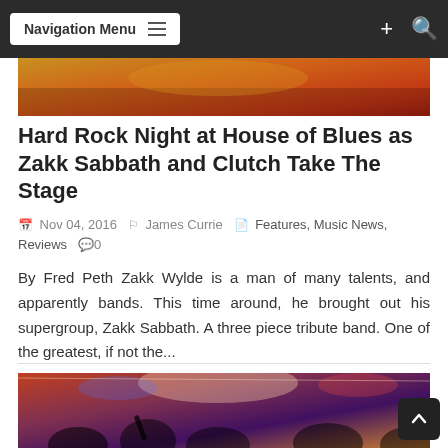Navigation Menu
[Figure (photo): Partial concert/band photo strip at top of article, warm orange and red tones]
Hard Rock Night at House of Blues as Zakk Sabbath and Clutch Take The Stage
Nov 04, 2016   James Currie   Features, Music News, Reviews  0
By Fred Peth Zakk Wylde is a man of many talents, and apparently bands. This time around, he brought out his supergroup, Zakk Sabbath. A three piece tribute band. One of the greatest, if not the...
Read More
[Figure (photo): Concert venue photo with colorful stage lighting and audience silhouettes, red and warm tones]